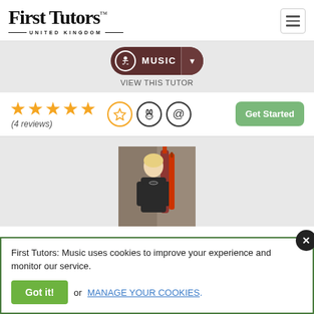[Figure (logo): First Tutors logo with 'UNITED KINGDOM' subtitle]
MUSIC
VIEW THIS TUTOR
★★★★★ (4 reviews)
[Figure (photo): Tutor photo: woman holding a bassoon]
First Tutors: Music uses cookies to improve your experience and monitor our service.
Got it! or MANAGE YOUR COOKIES.